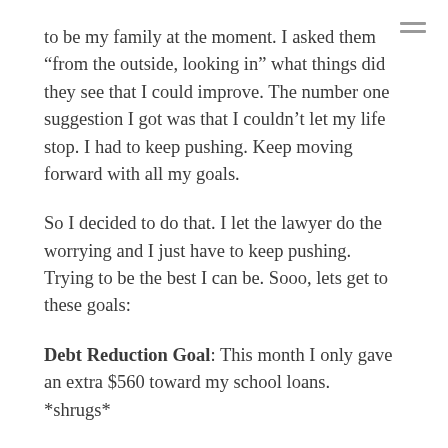to be my family at the moment. I asked them “from the outside, looking in” what things did they see that I could improve. The number one suggestion I got was that I couldn’t let my life stop. I had to keep pushing. Keep moving forward with all my goals.
So I decided to do that. I let the lawyer do the worrying and I just have to keep pushing. Trying to be the best I can be. Sooo, lets get to these goals:
Debt Reduction Goal: This month I only gave an extra $560 toward my school loans. *shrugs*
Creating Music: Created ..half a beat..“nothing to see here folks” – moving on.